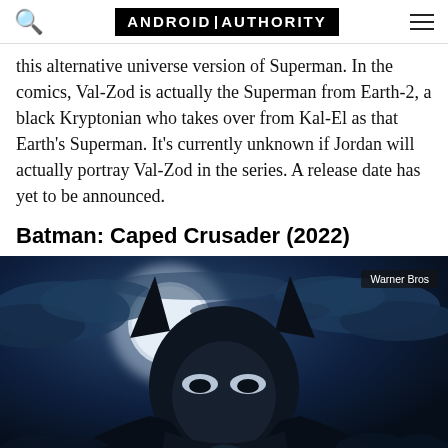ANDROID AUTHORITY
this alternative universe version of Superman. In the comics, Val-Zod is actually the Superman from Earth-2, a black Kryptonian who takes over from Kal-El as that Earth's Superman. It's currently unknown if Jordan will actually portray Val-Zod in the series. A release date has yet to be announced.
Batman: Caped Crusader (2022)
[Figure (photo): Batman: Caped Crusader animated promotional art showing Batman in a dark blue tonal illustration with a large moon and cloudy sky background. Warner Bros credit label in upper right corner.]